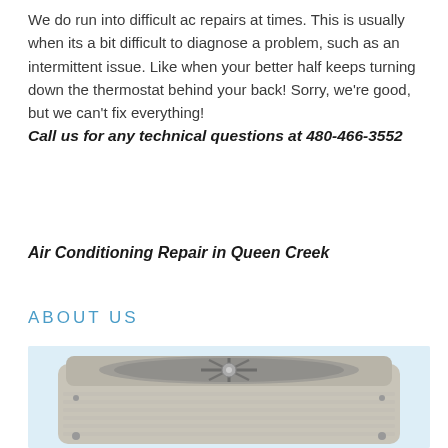We do run into difficult ac repairs at times. This is usually when its a bit difficult to diagnose a problem, such as an intermittent issue. Like when your better half keeps turning down the thermostat behind your back! Sorry, we're good, but we can't fix everything! Call us for any technical questions at 480-466-3552
Air Conditioning Repair in Queen Creek
ABOUT US
[Figure (photo): An air conditioning outdoor condenser unit photographed against a light blue background. The unit is beige/grey colored, square shaped with a fan grill on top.]